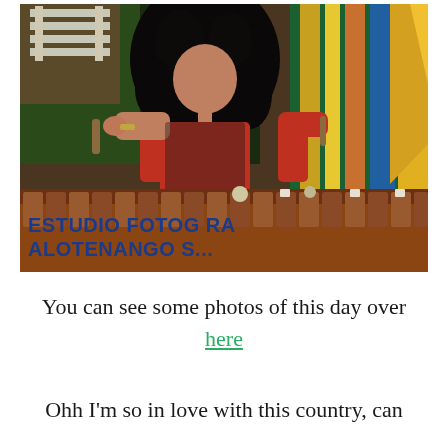[Figure (photo): A woman with long curly black hair wearing a red top, playing a marimba. The marimba has 'ESTUDIO FOTOGRAFIA ALOTENANGO S...' painted in blue letters on the side. Colorful fabric/cloth visible in the background.]
You can see some photos of this day over here
Ohh I'm so in love with this country, can